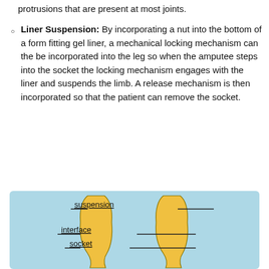protrusions that are present at most joints.
Liner Suspension: By incorporating a nut into the bottom of a form fitting gel liner, a mechanical locking mechanism can the be incorporated into the leg so when the amputee steps into the socket the locking mechanism engages with the liner and suspends the limb. A release mechanism is then incorporated so that the patient can remove the socket.
[Figure (illustration): Medical diagram on light blue background showing a cross-sectional view of a prosthetic socket system. Two yellow/gold columnar shapes (representing the residual limb or liner components) are shown side by side with labeled leader lines pointing to: 'suspension' at the top, 'interface' in the middle, and 'socket' at the bottom. Each label is underlined.]